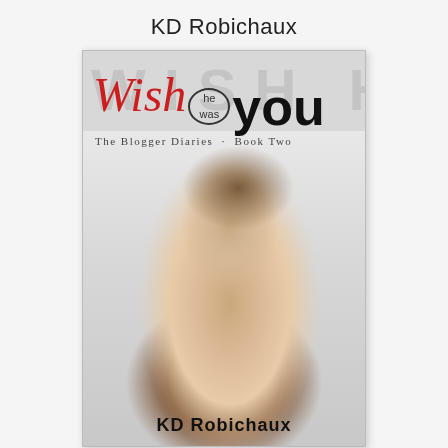KD Robichaux
[Figure (illustration): Book cover for 'Wish He Was You' by KD Robichaux. The Blogger Diaries, Book Two. Features a young woman with long brown hair looking downward, against a light grey background. The title uses mixed typography: 'Wish' in red italic script, 'he was' in a circled small font, and 'you' in large bold black letters. A large watermark 'WISH' appears faded in the background. The author name 'KD Robichaux' appears at the bottom of the cover.]